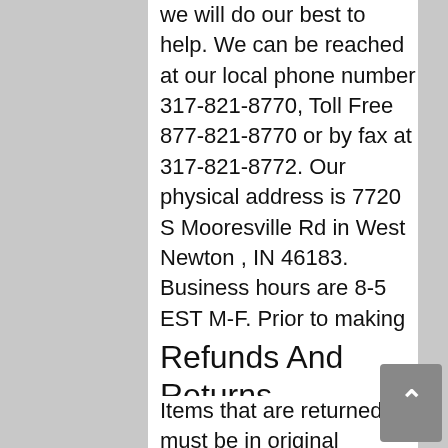we will do our best to help. We can be reached at our local phone number 317-821-8770, Toll Free 877-821-8770 or by fax at 317-821-8772. Our physical address is 7720 S Mooresville Rd in West Newton , IN 46183. Business hours are 8-5 EST M-F. Prior to making repairs please consult your manufacturers instructions and follow all safety precautions. Improper repairs can lead to equipment damage or personal injury or death. If you are unsure of your ability please call a professional company.
Refunds And Returns
Items that are returned must be in original package and in new